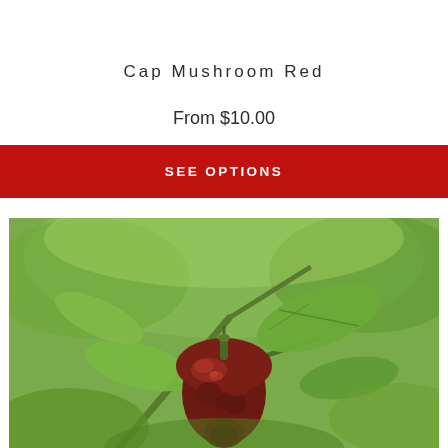Cap Mushroom Red
From $10.00
SEE OPTIONS
[Figure (photo): A dark red/brown mushroom-cap shaped chili pepper hanging on a green plant with leaves, photographed outdoors in natural light.]